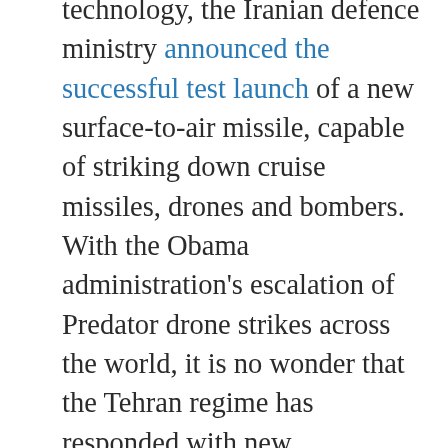technology, the Iranian defence ministry announced the successful test launch of a new surface-to-air missile, capable of striking down cruise missiles, drones and bombers. With the Obama administration's escalation of Predator drone strikes across the world, it is no wonder that the Tehran regime has responded with new technology designed to counter the drone threat. Unlike the positive reaction to the former Shah's embrace of nuclear technology, the US has received the news of the latest Iranian military developments with icy hostility.

The expansion of NSA surveillance, its